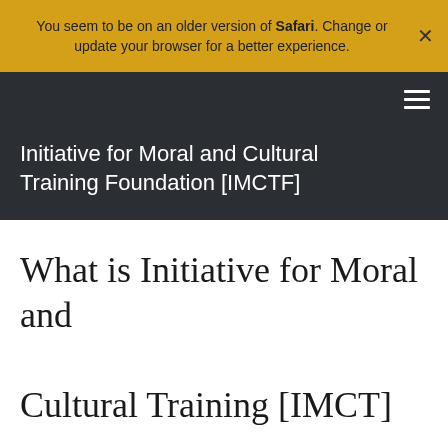You seem to be on an older version of Safari. Change or update your browser for a better experience.
Initiative for Moral and Cultural Training Foundation [IMCTF]
What is Initiative for Moral and Cultural Training [IMCT]